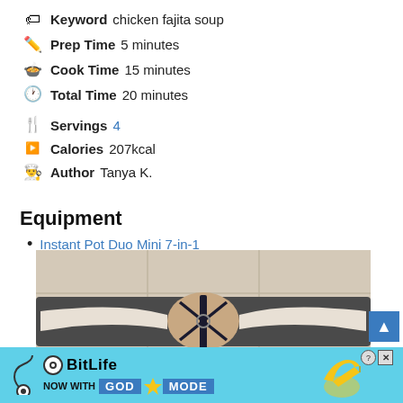Keyword  chicken fajita soup
Prep Time  5 minutes
Cook Time  15 minutes
Total Time  20 minutes
Servings  4
Calories  207kcal
Author  Tanya K.
Equipment
Instant Pot Duo Mini 7-in-1
[Figure (photo): A person lying on a mat doing a yoga or stretching pose viewed from above, with arms spread out holding straps.]
[Figure (other): BitLife advertisement banner: NOW WITH GOD MODE, with lightning bolt icon.]